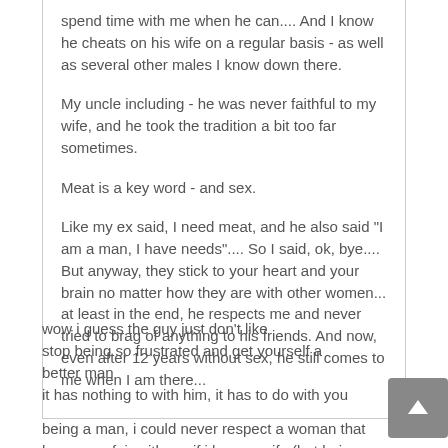spend time with me when he can.... And I know he cheats on his wife on a regular basis - as well as several other males I know down there.

My uncle including - he was never faithful to my wife, and he took the tradition a bit too far sometimes.

Meat is a key word - and sex.

Like my ex said, I need meat, and he also said "I am a man, I have needs".... So I said, ok, bye.... But anyway, they stick to your heart and your brain no matter how they are with other women... at least in the end, he respects me and never tried to brag of anything to his friends. And now, even after 12 years without sex, he still comes to me when I am there...
wow i guess the guy just don't like
stop being so frustrated and get yourself a better man
it has nothing to with him, it has to do with you
being a man, i could never respect a woman that has an a afair with me if i have a wife (but being honest i would also